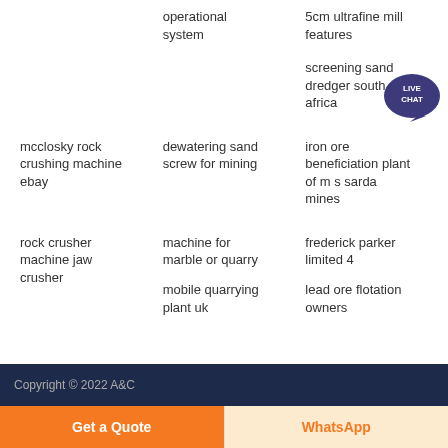operational system
5cm ultrafine mill features
screening sand dredger south africa
mcclosky rock crushing machine ebay
dewatering sand screw for mining
iron ore beneficiation plant of m s sarda mines
rock crusher machine jaw crusher
machine for marble or quarry
frederick parker limited 4
mobile quarrying plant uk
lead ore flotation owners
Copyright © 2022 A&C